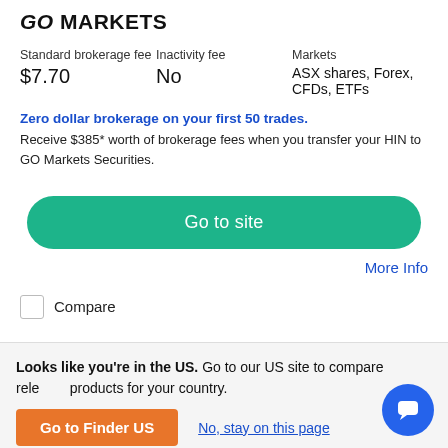GO MARKETS
| Standard brokerage fee | Inactivity fee | Markets |
| --- | --- | --- |
| $7.70 | No | ASX shares, Forex, CFDs, ETFs |
Zero dollar brokerage on your first 50 trades. Receive $385* worth of brokerage fees when you transfer your HIN to GO Markets Securities.
Go to site
More Info
Compare
Looks like you're in the US. Go to our US site to compare relevant products for your country.
Go to Finder US
No, stay on this page